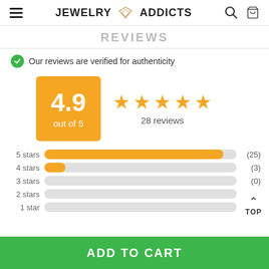JEWELRY ADDICTS
REVIEWS
Our reviews are verified for authenticity
[Figure (infographic): Rating score box showing 4.9 out of 5 with 4 orange stars and 28 reviews]
[Figure (bar-chart): Star rating distribution]
ADD TO CART